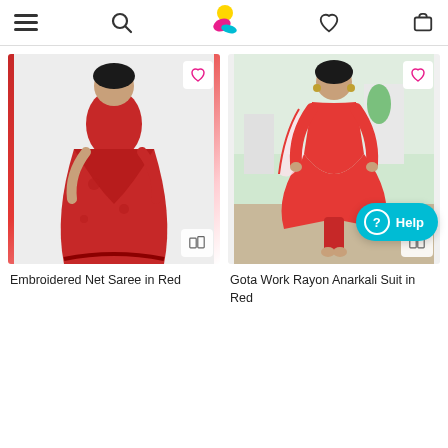Navigation bar with menu, search, logo, wishlist and cart icons
[Figure (photo): Woman wearing embroidered net saree in red]
[Figure (photo): Woman wearing gota work rayon anarkali suit in red]
Embroidered Net Saree in Red
Gota Work Rayon Anarkali Suit in Red